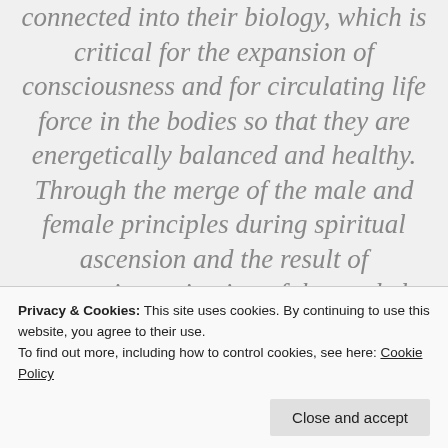connected into their biology, which is critical for the expansion of consciousness and for circulating life force in the bodies so that they are energetically balanced and healthy. Through the merge of the male and female principles during spiritual ascension and the result of progressive activation of the merkaba vehicle, the biology has the ability to enter the state
Privacy & Cookies: This site uses cookies. By continuing to use this website, you agree to their use.
To find out more, including how to control cookies, see here: Cookie Policy
ascending people will happen during their